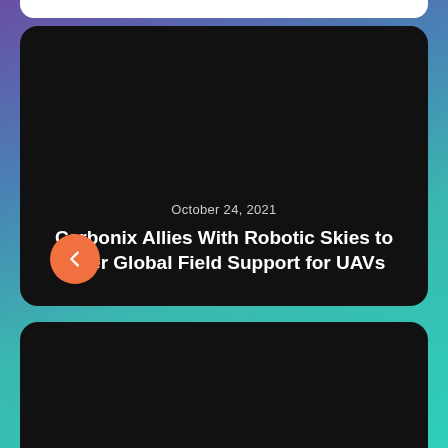Carbonix Allies With Robotic Skies to Offer Global Field Support for UAVs
October 24, 2021
Saildrone Secures $100 M Series C Funds to Advance Robo-Boats
October 24, 2021